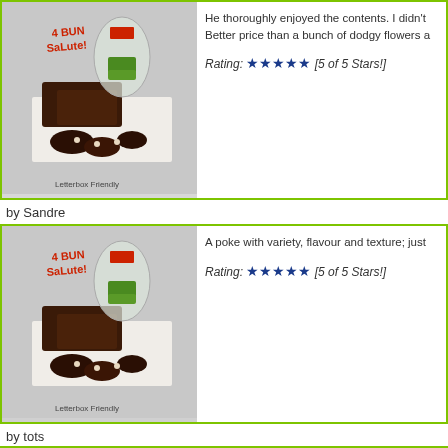[Figure (photo): 4 Bun Salute product box with brownies and chocolate treats, Letterbox Friendly label]
He thoroughly enjoyed the contents. I didn't Better price than a bunch of dodgy flowers a
Rating: ★★★★★ [5 of 5 Stars!]
by Sandre
[Figure (photo): 4 Bun Salute product box with brownies and chocolate treats, Letterbox Friendly label]
A poke with variety, flavour and texture; just
Rating: ★★★★★ [5 of 5 Stars!]
by tots
[Figure (photo): 4 Bun Salute product box partial view at bottom]